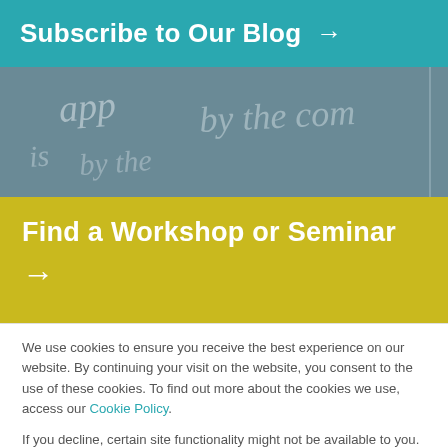Subscribe to Our Blog →
[Figure (photo): Chalkboard with handwritten text, showing partial words and equations written in chalk]
Find a Workshop or Seminar →
We use cookies to ensure you receive the best experience on our website. By continuing your visit on the website, you consent to the use of these cookies. To find out more about the cookies we use, access our Cookie Policy.
If you decline, certain site functionality might not be available to you.
Accept & Continue
Decline